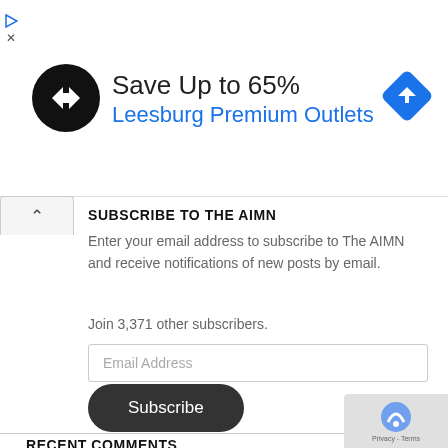[Figure (infographic): Advertisement banner: black circular logo with double arrow icon, text 'Save Up to 65% Leesburg Premium Outlets', blue diamond navigation icon on right, small triangular play/close icons on far left]
SUBSCRIBE TO THE AIMN
Enter your email address to subscribe to The AIMN and receive notifications of new posts by email.
Join 3,371 other subscribers.
Email Address
Subscribe
RECENT COMMENTS